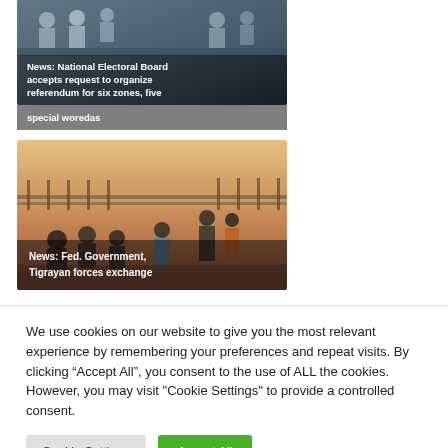[Figure (photo): News thumbnail showing people at what appears to be an official meeting or electoral event, with text overlay about National Electoral Board]
News: National Electoral Board accepts request to organize referendum for six zones, five special woredas
[Figure (photo): News thumbnail showing a crowd of people outdoors at dusk or dawn, with a fence in the background, related to Tigrayan forces]
News: Fed. Government, Tigrayan forces exchange
We use cookies on our website to give you the most relevant experience by remembering your preferences and repeat visits. By clicking “Accept All”, you consent to the use of ALL the cookies. However, you may visit "Cookie Settings" to provide a controlled consent.